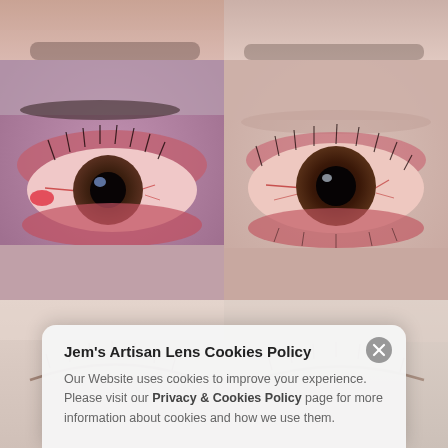[Figure (photo): Top row: two partial close-up photos of eyes, cropped at top, showing skin/forehead area]
[Figure (photo): Middle left: close-up of an irritated/red eye with visible redness and swelling of the eyelid]
[Figure (photo): Middle right: close-up of an irritated/red eye showing redness of the conjunctiva and eyelid]
[Figure (photo): Bottom row: two close-up photos of closed/nearly closed eyes, partially obscured by cookie popup]
Jem's Artisan Lens Cookies Policy
Our Website uses cookies to improve your experience. Please visit our Privacy & Cookies Policy page for more information about cookies and how we use them.